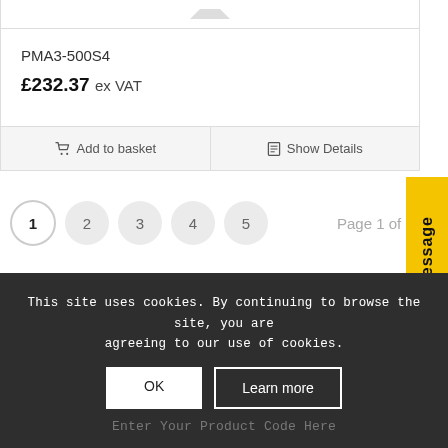PMA3-500S4
£232.37 ex VAT
Add to basket
Show Details
1 2 3 4 5  Page 1 of
[Figure (other): Yellow Message tab with vertical text 'Message' and chat bubble icon]
This site uses cookies. By continuing to browse the site, you are agreeing to our use of cookies.
OK
Learn more
Enter Your Product Code Here